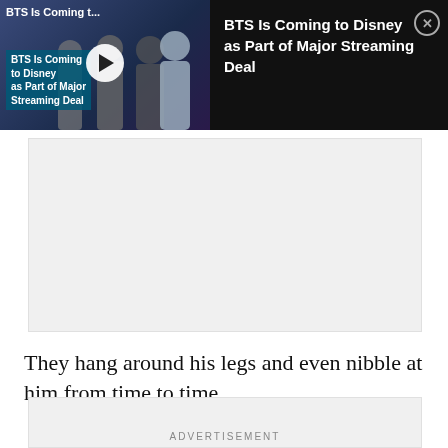[Figure (screenshot): Video thumbnail showing BTS members in formal wear with a play button overlay, labeled 'BTS Is Coming t...' at top left and 'BTS Is Coming to Disney as Part of Major Streaming Deal' as overlay caption.]
BTS Is Coming to Disney as Part of Major Streaming Deal
[Figure (other): Gray advertisement rectangle placeholder]
They hang around his legs and even nibble at him from time to time.
ADVERTISEMENT